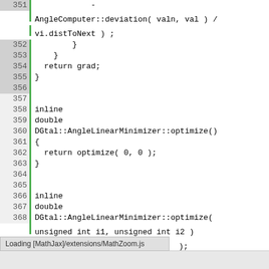[Figure (screenshot): Source code viewer showing C++ code lines 351-379 with green vertical bar indicators and line numbers, plus a MathJax loading tooltip at the bottom]
Loading [MathJax]/extensions/MathZoom.js